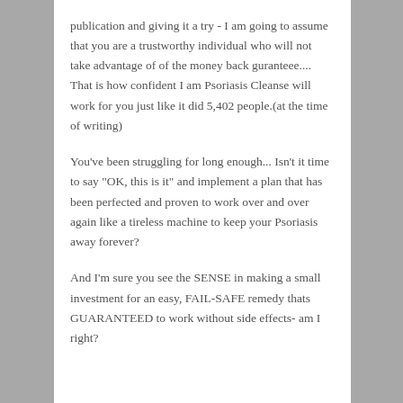publication and giving it a try - I am going to assume that you are a trustworthy individual who will not take advantage of of the money back guranteee.... That is how confident I am Psoriasis Cleanse will work for you just like it did 5,402 people.(at the time of writing)
You've been struggling for long enough... Isn't it time to say "OK, this is it" and implement a plan that has been perfected and proven to work over and over again like a tireless machine to keep your Psoriasis away forever?
And I'm sure you see the SENSE in making a small investment for an easy, FAIL-SAFE remedy thats GUARANTEED to work without side effects- am I right?